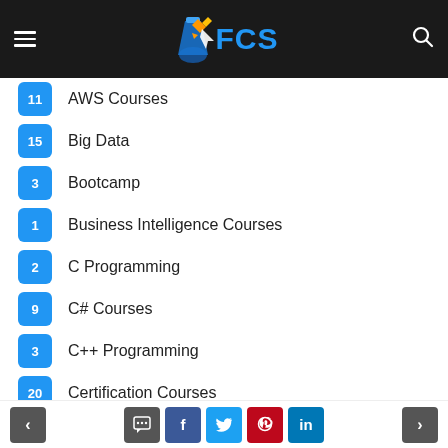FCS Smart Learning - Navigation header with logo
11 AWS Courses
15 Big Data
3 Bootcamp
1 Business Intelligence Courses
2 C Programming
9 C# Courses
3 C++ Programming
20 Certification Courses
6 CI/CD Courses
2 CISCO Courses
CISCO Certifications (partially visible)
Navigation and social share buttons: back, comment, facebook, twitter, pinterest, linkedin, next